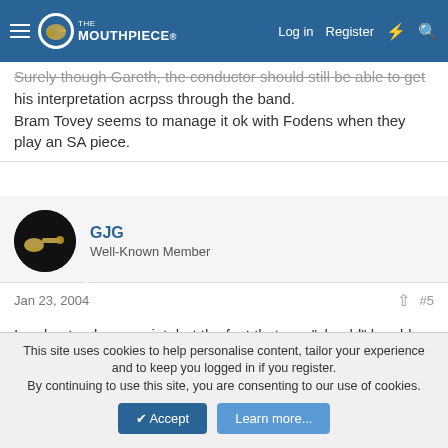The Mouthpiece | Log in | Register
Surely though Gareth, the conductor should still be able to get his interpretation acrpss through the band. Bram Tovey seems to manage it ok with Fodens when they play an SA piece.
GJG
Well-Known Member
Jan 23, 2004  #5
I understand your point, but the fact that you "should" be able to communicate the meaning of the music doesn't always mean that your players will be capable of responding.
As an example, twenty-five competent players who all sincerely
This site uses cookies to help personalise content, tailor your experience and to keep you logged in if you register.
By continuing to use this site, you are consenting to our use of cookies.